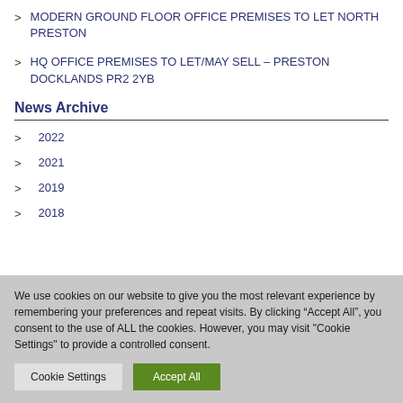MODERN GROUND FLOOR OFFICE PREMISES TO LET NORTH PRESTON
HQ OFFICE PREMISES TO LET/MAY SELL – PRESTON DOCKLANDS PR2 2YB
News Archive
2022
2021
2019
2018
We use cookies on our website to give you the most relevant experience by remembering your preferences and repeat visits. By clicking “Accept All”, you consent to the use of ALL the cookies. However, you may visit "Cookie Settings" to provide a controlled consent.